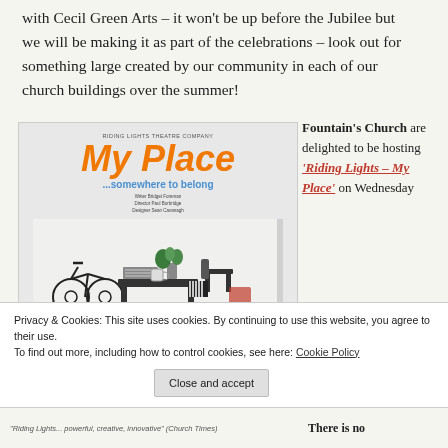with Cecil Green Arts – it won't be up before the Jubilee but we will be making it as part of the celebrations – look out for something large created by our community in each of our church buildings over the summer!
[Figure (illustration): Theatre company poster for 'My Place – somewhere to belong' by Riding Lights Theatre Company, featuring illustrated scene with bicycle, desk, plants and household items. Orange title text 'My Place' with blue subtitle '...somewhere to belong'.]
Fountain's Church are delighted to be hosting 'Riding Lights – My Place' on Wednesday
•
Privacy & Cookies: This site uses cookies. By continuing to use this website, you agree to their use.
To find out more, including how to control cookies, see here: Cookie Policy
Close and accept
"Riding Lights... powerful, creative, innovative"
There is no